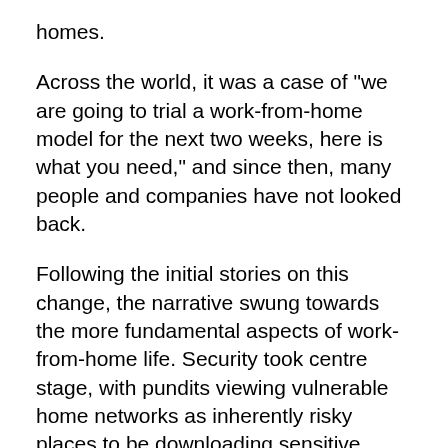homes.
Across the world, it was a case of "we are going to trial a work-from-home model for the next two weeks, here is what you need," and since then, many people and companies have not looked back.
Following the initial stories on this change, the narrative swung towards the more fundamental aspects of work-from-home life. Security took centre stage, with pundits viewing vulnerable home networks as inherently risky places to be downloading sensitive information from enterprise cloud services.
Now, as organisations have shifted their mindset to view work-from-home as an ongoing and long-term situation, the narrative changes again.
With 75% of employees in Australia and New Zealand likely to negotiate for at least some